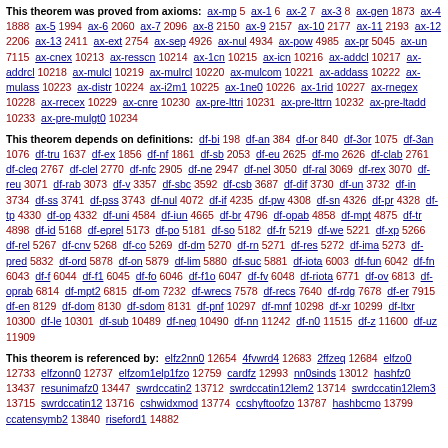This theorem was proved from axioms: ax-mp 5 ax-1 6 ax-2 7 ax-3 8 ax-gen 1873 ax-4 1888 ax-5 1994 ax-6 2060 ax-7 2096 ax-8 2150 ax-9 2157 ax-10 2177 ax-11 2193 ax-12 2206 ax-13 2411 ax-ext 2754 ax-sep 4926 ax-nul 4934 ax-pow 4985 ax-pr 5045 ax-un 7115 ax-cnex 10213 ax-resscn 10214 ax-1cn 10215 ax-icn 10216 ax-addcl 10217 ax-addrcl 10218 ax-mulcl 10219 ax-mulrcl 10220 ax-mulcom 10221 ax-addass 10222 ax-mulass 10223 ax-distr 10224 ax-i2m1 10225 ax-1ne0 10226 ax-1rid 10227 ax-rnegex 10228 ax-rrecex 10229 ax-cnre 10230 ax-pre-lttri 10231 ax-pre-lttrn 10232 ax-pre-ltadd 10233 ax-pre-mulgt0 10234
This theorem depends on definitions: df-bi 198 df-an 384 df-or 840 df-3or 1075 df-3an 1076 df-tru 1637 df-ex 1856 df-nf 1861 df-sb 2053 df-eu 2625 df-mo 2626 df-clab 2761 df-cleq 2767 df-clel 2770 df-nfc 2905 df-ne 2947 df-nel 3050 df-ral 3069 df-rex 3070 df-reu 3071 df-rab 3073 df-v 3357 df-sbc 3592 df-csb 3687 df-dif 3730 df-un 3732 df-in 3734 df-ss 3741 df-pss 3743 df-nul 4072 df-if 4235 df-pw 4308 df-sn 4326 df-pr 4328 df-tp 4330 df-op 4332 df-uni 4584 df-iun 4665 df-br 4796 df-opab 4858 df-mpt 4875 df-tr 4898 df-id 5168 df-eprel 5173 df-po 5181 df-so 5182 df-fr 5219 df-we 5221 df-xp 5266 df-rel 5267 df-cnv 5268 df-co 5269 df-dm 5270 df-rn 5271 df-res 5272 df-ima 5273 df-pred 5832 df-ord 5878 df-on 5879 df-lim 5880 df-suc 5881 df-iota 6003 df-fun 6042 df-fn 6043 df-f 6044 df-f1 6045 df-fo 6046 df-f1o 6047 df-fv 6048 df-riota 6771 df-ov 6813 df-oprab 6814 df-mpt2 6815 df-om 7232 df-wrecs 7578 df-recs 7640 df-rdg 7678 df-er 7915 df-en 8129 df-dom 8130 df-sdom 8131 df-pnf 10297 df-mnf 10298 df-xr 10299 df-ltxr 10300 df-le 10301 df-sub 10489 df-neg 10490 df-nn 11242 df-n0 11515 df-z 11600 df-uz 11909
This theorem is referenced by: elfz2nn0 12654 4fvwrd4 12683 2ffzeq 12684 elfzo0 12733 elfzonn0 12737 elfzom1elp1fzo 12759 cardfz 12993 nn0sinds 13012 hashfz0 13437 resunimafz0 13447 swrdccatin2 13712 swrdccatin12lem2 13714 swrdccatin12lem3 13715 swrdccatin12 13716 cshwidxmod 13774 ccshyftoofzo ... hashbcmo ... ccatensymb2 ... riseford1 ...